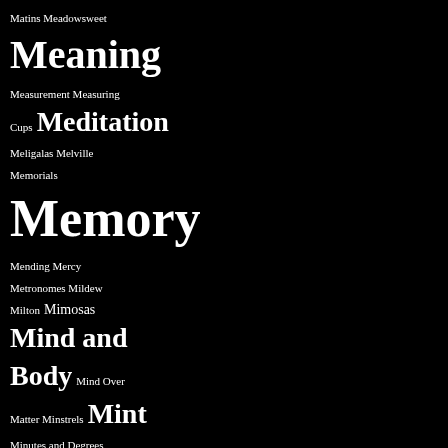[Figure (infographic): Word cloud / tag cloud on black background featuring words starting with 'M', displayed in varying font sizes indicating frequency or importance. Words include: Matins, Meadowsweet, Meaning (large), Measurement, Measuring Cups, Meditation (large), Meligalas, Melville, Memorials, Memory (xlarge), Mending, Mercy, Metronomes, Mildew, Milton, Mimosas, Mind and Body (large), Mind Over Matter, Minstrels, Mint (large), Minutes and Degrees, Minutiae, Miracles (large), Mirrors (large), Mission Lake (large), Miss Martin, Mist (large), Mobs, Mockingbirds, Mold, Molière (large), Monastery of Psalms, Money (large), Monkeys, Monsters, Montaigne (xlarge).]